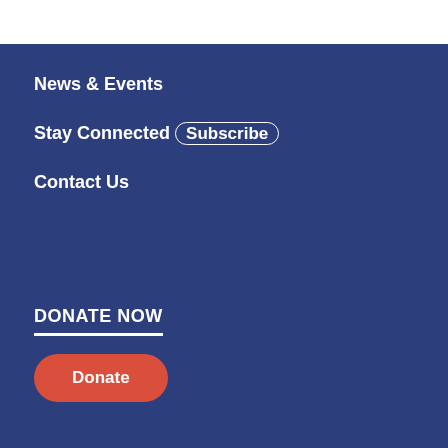News & Events
Stay Connected ( Subscribe )
Contact Us
DONATE NOW
Donate